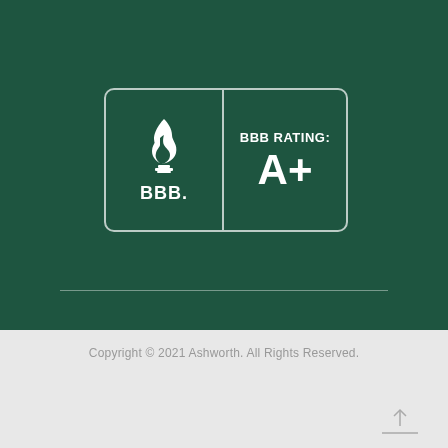[Figure (logo): BBB (Better Business Bureau) logo badge with flame icon, 'BBB.' text, and 'BBB RATING: A+' on dark green background]
Copyright © 2021 Ashworth. All Rights Reserved.